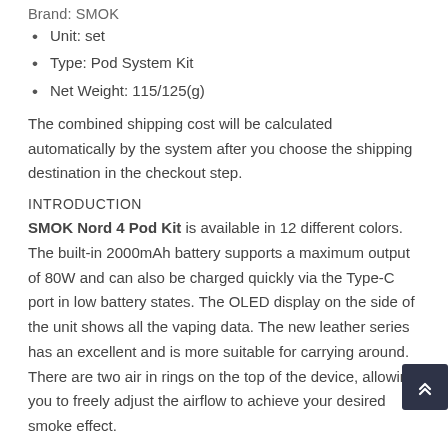Unit: set
Type: Pod System Kit
Net Weight: 115/125(g)
The combined shipping cost will be calculated automatically by the system after you choose the shipping destination in the checkout step.
INTRODUCTION
SMOK Nord 4 Pod Kit is available in 12 different colors. The built-in 2000mAh battery supports a maximum output of 80W and can also be charged quickly via the Type-C port in low battery states. The OLED display on the side of the unit shows all the vaping data. The new leather series has an excellent and is more suitable for carrying around. There are two air in rings on the top of the device, allowing you to freely adjust the airflow to achieve your desired smoke effect.